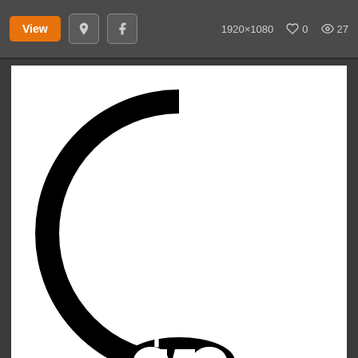View | Pinterest | Facebook | 1920×1080 | ♡ 0 | 👁 27
[Figure (illustration): Black and white graphic combining a letter E styled with American flag stripes on a circular background, overlaid with a skull (Punisher-style) and a cannabis leaf silhouette. The design is monochrome — black shapes on white background.]